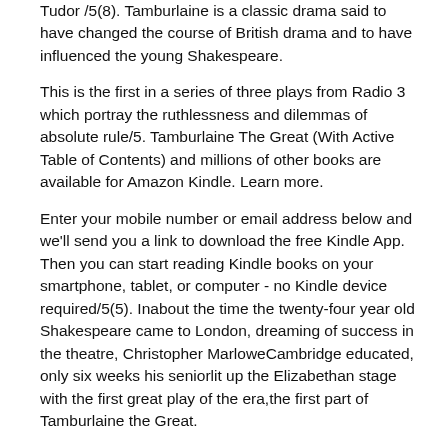Tudor /5(8). Tamburlaine is a classic drama said to have changed the course of British drama and to have influenced the young Shakespeare.
This is the first in a series of three plays from Radio 3 which portray the ruthlessness and dilemmas of absolute rule/5. Tamburlaine The Great (With Active Table of Contents) and millions of other books are available for Amazon Kindle. Learn more.
Enter your mobile number or email address below and we'll send you a link to download the free Kindle App. Then you can start reading Kindle books on your smartphone, tablet, or computer - no Kindle device required/5(5). Inabout the time the twenty-four year old Shakespeare came to London, dreaming of success in the theatre, Christopher MarloweCambridge educated, only six weeks his seniorlit up the Elizabethan stage with the first great play of the era,the first part of Tamburlaine the Great.
At this time when the English heart was full of thoughts of conquest and of empire--the Spanish Armada nearly /5. By: Christopher Marlowe () Tamburlaine the Great is the name of a play in two